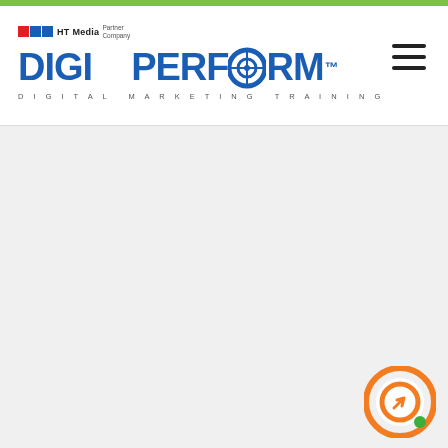[Figure (logo): DigiPerform logo with HT Media Partner Company branding. Blue text 'DIGIPERFORM' with target icon in O, tagline 'DIGITAL MARKETING TRAINING']
[Figure (other): Hamburger menu icon (three horizontal lines) in top right corner]
[Figure (other): Orange circular chat/support widget icon with arrow and green dot indicator in bottom right corner]